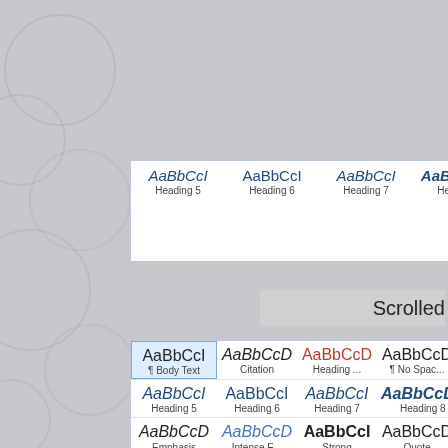[Figure (screenshot): Word style gallery panel showing heading styles: Heading 5 (italic navy), Heading 6, Heading 7, Heading 8, Heading 9 in a horizontal row]
Scrolled
[Figure (screenshot): Word style gallery scrolled panel showing: Row 1: Body Text (highlighted/selected), Citation, Heading... (red), No Spac..., Heading 1 (bold navy large), He... Row 2: Heading 5, Heading 6, Heading 7, Heading 8, Heading 9, [large A]. Row 3: Emphasis, Intense E..., Strong, Quote, Intense Q..., Sub... Row 4: List Para..., Body Te..., Normal, FooterE..., FooterFi..., Fo...]